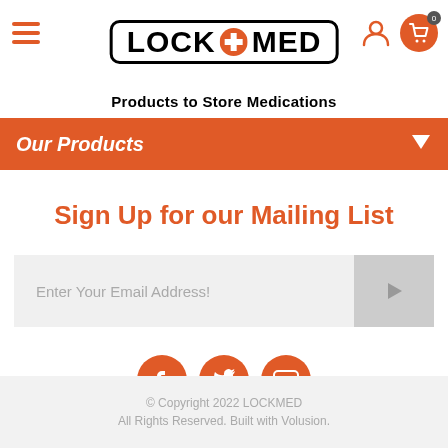[Figure (logo): LOCK+MED logo with cross symbol inside a rounded rectangle border, with tagline 'Products to Store Medications']
Our Products
Sign Up for our Mailing List
Enter Your Email Address!
[Figure (illustration): Social media icons: Facebook, Twitter, YouTube — orange circles with white icons]
© Copyright 2022 LOCKMED
All Rights Reserved. Built with Volusion.